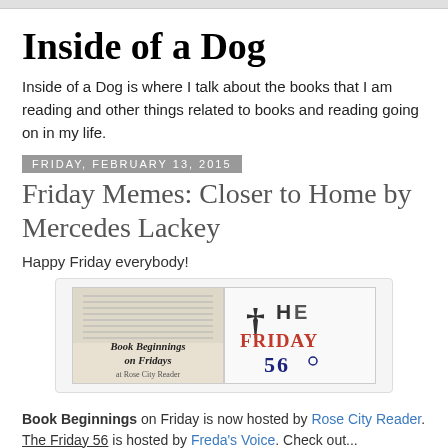Inside of a Dog
Inside of a Dog is where I talk about the books that I am reading and other things related to books and reading going on in my life.
Friday, February 13, 2015
Friday Memes: Closer to Home by Mercedes Lackey
Happy Friday everybody!
[Figure (illustration): Two images side by side: left shows 'Book Beginnings on Fridays at Rose City Reader' over a book page background; right shows 'The Friday 56' logo in red and blue gothic/decorative text.]
Book Beginnings on Friday is now hosted by Rose City Reader. The Friday 56 is hosted by Freda's Voice. Check out...